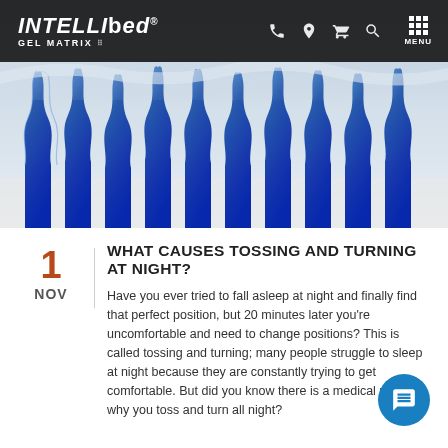INTELLIbed GEL MATRIX
[Figure (photo): Close-up of blue gel matrix mattress material showing wave-like columnar gel structure against a white/grey background]
1 NOV | WHAT CAUSES TOSSING AND TURNING AT NIGHT?
Have you ever tried to fall asleep at night and finally find that perfect position, but 20 minutes later you're uncomfortable and need to change positions? This is called tossing and turning; many people struggle to sleep at night because they are constantly trying to get comfortable. But did you know there is a medical reason why you toss and turn all night?